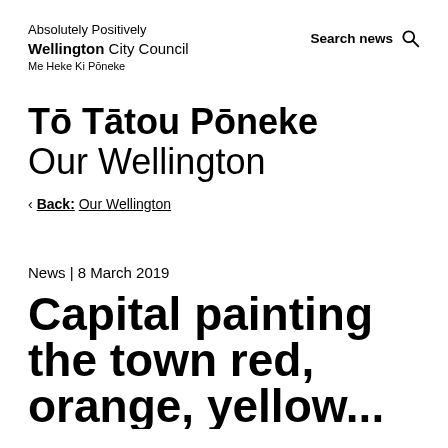Absolutely Positively Wellington City Council
Me Heke Ki Pōneke
Tō Tātou Pōneke
Our Wellington
< Back: Our Wellington
News | 8 March 2019
Capital painting the town red, orange, yellow...